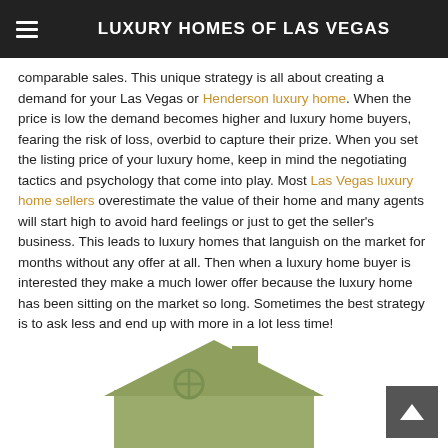LUXURY HOMES OF LAS VEGAS
comparable sales.  This unique strategy is all about creating a demand for your Las Vegas or Henderson luxury home.  When the price is low the demand becomes higher and luxury home buyers, fearing the risk of loss, overbid to capture their prize.  When you set the listing price of your luxury home, keep in mind the negotiating tactics and psychology that come into play.  Most Las Vegas luxury home sellers overestimate the value of their home and many agents will start high to avoid hard feelings or just to get the seller's business.  This leads to luxury homes that languish on the market for months without any offer at all.  Then when a luxury home buyer is interested they make a much lower offer because the luxury home has been sitting on the market so long.  Sometimes the best strategy is to ask less and end up with more in a lot less time!
[Figure (illustration): Olive/sage green house icon silhouette showing roof with chimney and circular window]